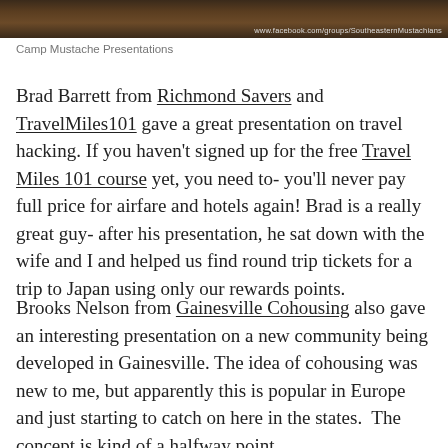[Figure (photo): Dark brown photo banner, likely outdoor/nature scene, with Facebook group URL 'www.facebook.com/groups/SoutheasternMustachians' overlaid in white text at bottom right]
Camp Mustache Presentations
Brad Barrett from Richmond Savers and TravelMiles101 gave a great presentation on travel hacking. If you haven't signed up for the free Travel Miles 101 course yet, you need to- you'll never pay full price for airfare and hotels again! Brad is a really great guy- after his presentation, he sat down with the wife and I and helped us find round trip tickets for a trip to Japan using only our rewards points.
Brooks Nelson from Gainesville Cohousing also gave an interesting presentation on a new community being developed in Gainesville. The idea of cohousing was new to me, but apparently this is popular in Europe and just starting to catch on here in the states. The concept is kind of a halfway point